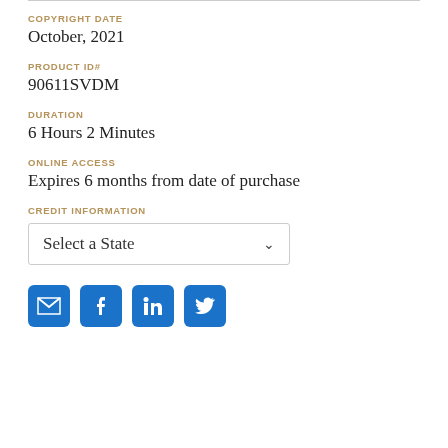COPYRIGHT DATE
October, 2021
PRODUCT ID#
90611SVDM
DURATION
6 Hours 2 Minutes
ONLINE ACCESS
Expires 6 months from date of purchase
CREDIT INFORMATION
[Figure (other): Dropdown select box labeled 'Select a State']
[Figure (other): Social sharing icons: email, Facebook, LinkedIn, Twitter]